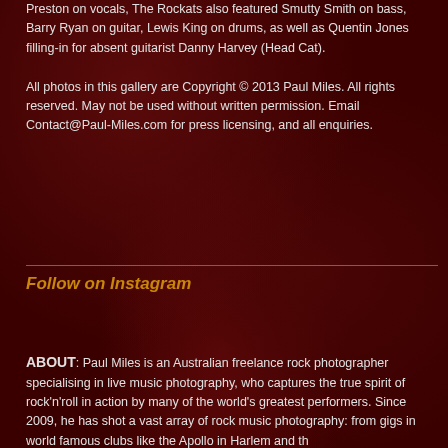Preston on vocals, The Rockats also featured Smutty Smith on bass, Barry Ryan on guitar, Lewis King on drums, as well as Quentin Jones filling-in for absent guitarist Danny Harvey (Head Cat).
All photos in this gallery are Copyright © 2013 Paul Miles. All rights reserved. May not be used without written permission. Email Contact@Paul-Miles.com for press licensing, and all enquiries.
Follow on Instagram
ABOUT: Paul Miles is an Australian freelance rock photographer specialising in live music photography, who captures the true spirit of rock'n'roll in action by many of the world's greatest performers. Since 2009, he has shot a vast array of rock music photography: from gigs in world famous clubs like the Apollo in Harlem and the